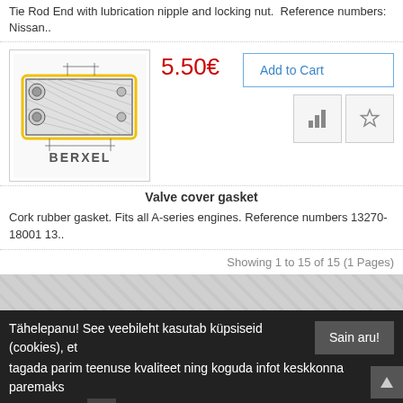Tie Rod End with lubrication nipple and locking nut.  Reference numbers: Nissan..
[Figure (illustration): Technical illustration of a valve cover gasket by BERXEL, showing an engine cover part with gasket outline in yellow]
5.50€
Add to Cart
Valve cover gasket
Cork rubber gasket. Fits all A-series engines. Reference numbers 13270-18001 13..
Showing 1 to 15 of 15 (1 Pages)
Tähelepanu! See veebileht kasutab küpsiseid (cookies), et tagada parim teenuse kvaliteet ning koguda infot keskkonna paremaks muutmiseks.
Sain aru!